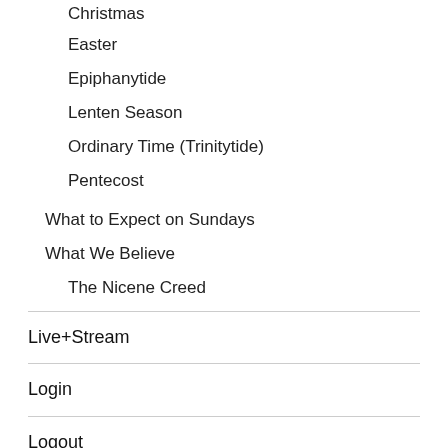Christmas
Easter
Epiphanytide
Lenten Season
Ordinary Time (Trinitytide)
Pentecost
What to Expect on Sundays
What We Believe
The Nicene Creed
Live+Stream
Login
Logout